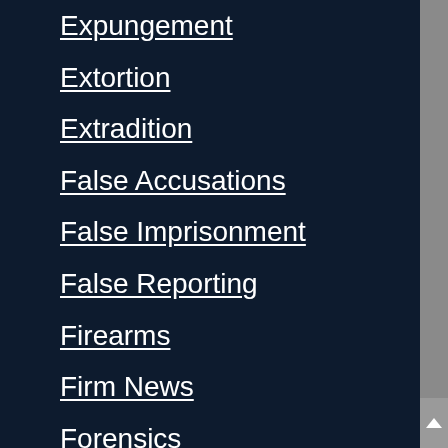Expungement
Extortion
Extradition
False Accusations
False Imprisonment
False Reporting
Firearms
Firm News
Forensics
Forgery
Fraud by Check
Fraudulent Acts